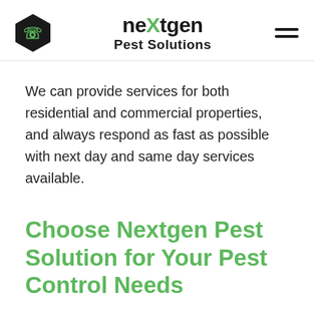[Figure (logo): Nextgen Pest Solutions logo with hexagon phone icon on the left, brand name 'neXtgen Pest Solutions' in the center, and hamburger menu icon on the right]
We can provide services for both residential and commercial properties, and always respond as fast as possible with next day and same day services available.
Choose Nextgen Pest Solution for Your Pest Control Needs
There are many pest control companies